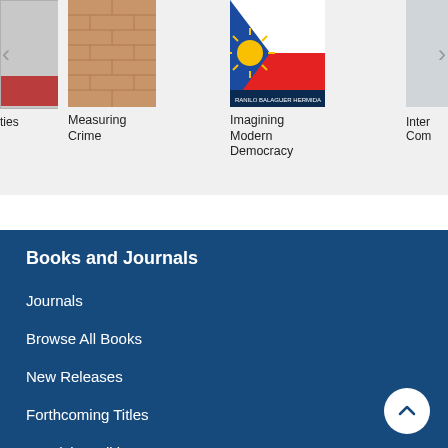[Figure (screenshot): Book carousel showing partial book cover on left, 'Measuring Crime' book cover in center-left, 'Imagining Modern Democracy' book cover with Philippine flag in center-right, and partial book cover on right. Arrow navigation controls on sides.]
Measuring Crime
Imagining Modern Democracy
Inter Com
ties
Books and Journals
Journals
Browse All Books
New Releases
Forthcoming Titles
Excelsior Editions
Browse by Subject